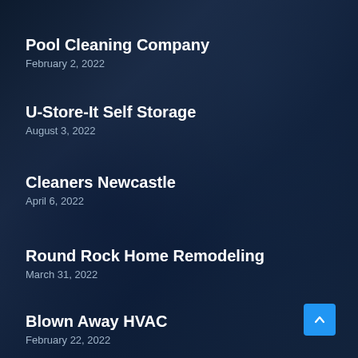Pool Cleaning Company
February 2, 2022
U-Store-It Self Storage
August 3, 2022
Cleaners Newcastle
April 6, 2022
Round Rock Home Remodeling
March 31, 2022
Blown Away HVAC
February 22, 2022